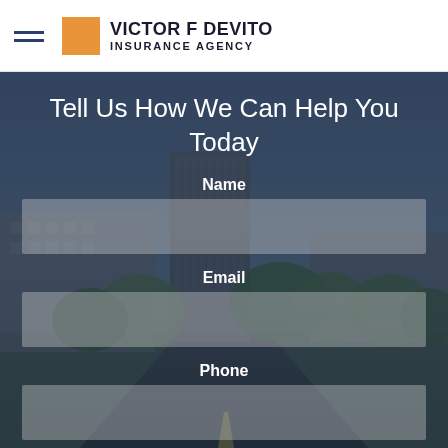VICTOR F DEVITO INSURANCE AGENCY
Tell Us How We Can Help You Today
Name
Email
Phone
Message